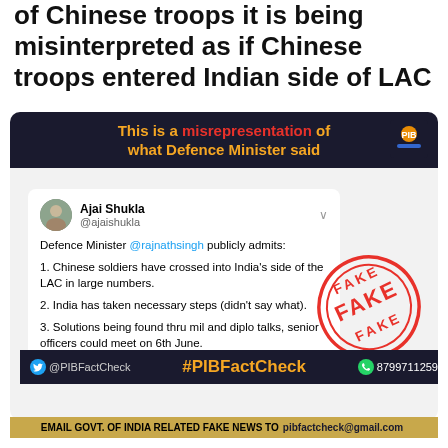of Chinese troops it is being misinterpreted as if Chinese troops entered Indian side of LAC
[Figure (infographic): PIB Fact Check card with dark header stating 'This is a misrepresentation of what Defence Minister said', containing embedded tweet from @ajaishukla about Defence Minister admitting Chinese soldiers crossed into India's LAC, overlaid with red FAKE stamp, and footer with @PIBFactCheck handle, hashtag, WhatsApp number, and email bar.]